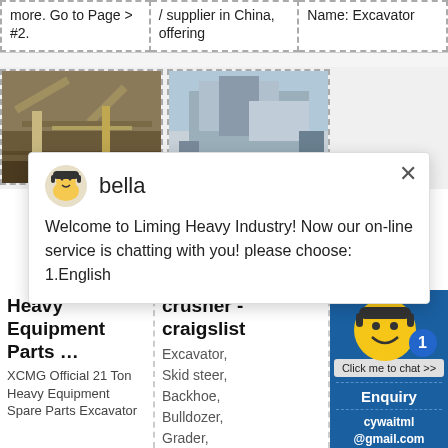more. Go to Page > #2.
/ supplier in China, offering
Name: Excavator
[Figure (photo): Outdoor photo of heavy industrial crushing/mining equipment with conveyor belts and machinery]
[Figure (photo): Outdoor photo of large industrial processing or crushing plant equipment]
bella — Welcome to Liming Heavy Industry! Now our on-line service is chatting with you! please choose: 1.English
Heavy Equipment Parts …
XCMG Official 21 Ton Heavy Equipment Spare Parts Excavator
crusher - craigslist
Excavator,
Skid steer,
Backhoe,
Bulldozer,
Grader,
Loader
Enquiry
cywaitml@gmail.com